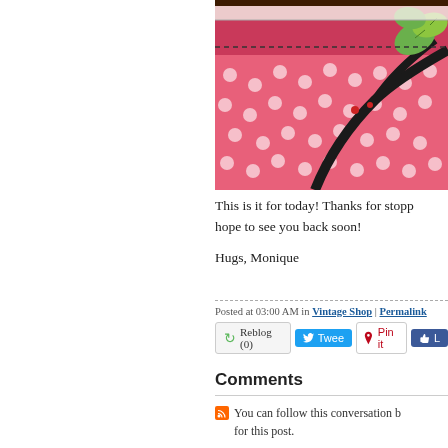[Figure (photo): Close-up photo of a handmade scrapbook or greeting card with pink polka-dot paper, black branch embellishment, green leaf die-cuts, and decorative stitching details.]
This is it for today! Thanks for stopp... hope to see you back soon!
Hugs, Monique
Posted at 03:00 AM in Vintage Shop | Permalink
Reblog (0)  Tweet  Pin it  Like
Comments
You can follow this conversation b... for this post.